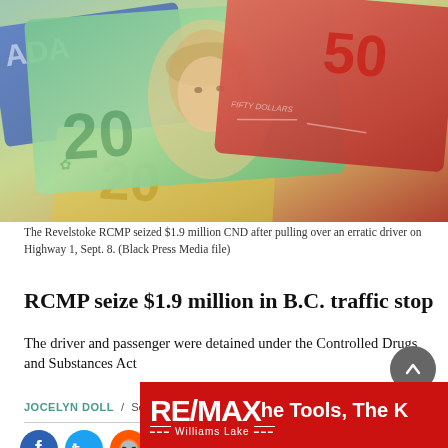[Figure (photo): Canadian currency bills fanned out showing green $20 and red $50 bills with Queen Elizabeth's portrait visible]
The Revelstoke RCMP seized $1.9 million CND after pulling over an erratic driver on Highway 1, Sept. 8. (Black Press Media file)
RCMP seize $1.9 million in B.C. traffic stop
The driver and passenger were detained under the Controlled Drugs and Substances Act
JOCELYN DOLL  /  Sep. 19, 2019 11:05 a.m.  /  NEWS
[Figure (infographic): Social media share icons: Facebook, Twitter, Reddit, Email, Print, Comment, Photo]
[Figure (logo): RE/MAX Williams Lake advertisement banner with text: RE/MAX The Tools, The K...]